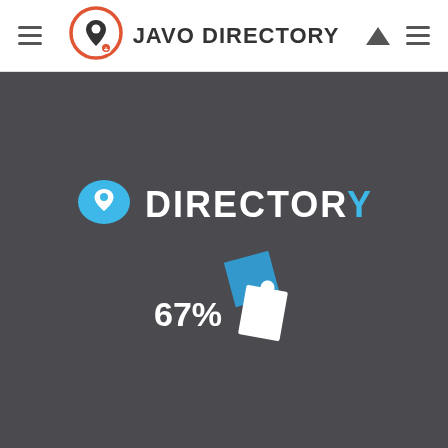JAVO DIRECTORY
[Figure (logo): Javo Directory loading screen with logo showing chat bubble with location pin, DIRECTORY text with Y in blue, and animated loading indicator showing 67% with blue square and white clipboard shape on dark grey background]